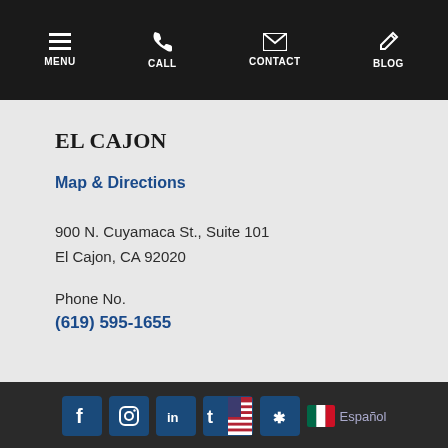MENU  CALL  CONTACT  BLOG
EL CAJON
Map & Directions
900 N. Cuyamaca St., Suite 101
El Cajon, CA 92020
Phone No.
(619) 595-1655
Facebook Instagram LinkedIn Twitter/US flag Yelp  Español